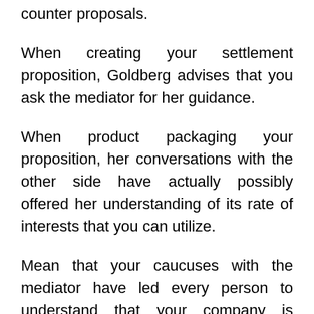counter proposals.
When creating your settlement proposition, Goldberg advises that you ask the mediator for her guidance.
When product packaging your proposition, her conversations with the other side have actually possibly offered her understanding of its rate of interests that you can utilize.
Mean that your caucuses with the mediator have led every person to understand that your company is primarily worried about keeping its online reputation, while the printing